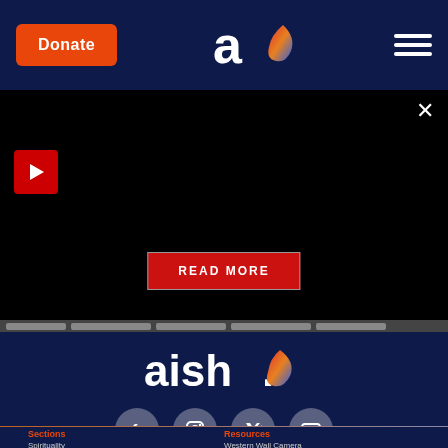[Figure (screenshot): Aish.com website screenshot showing navigation bar with Donate button, centered logo, hamburger menu, a video/article panel with play button and READ MORE button, slider tabs, footer with aish logo and social media icons, and Sections/Resources columns]
Donate
aish.
READ MORE
aish.
Sections
Spirituality
Resources
Western Wall Camera